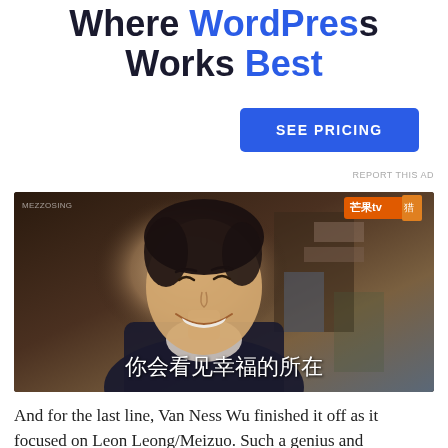Where WordPress Works Best
[Figure (other): Blue 'SEE PRICING' button]
REPORT THIS AD
[Figure (screenshot): Video screenshot of a young Asian man smiling, from a Chinese streaming service (芒果tv), with subtitle text '你会看见幸福的所在']
And for the last line, Van Ness Wu finished it off as it focused on Leon Leong/Meizuo. Such a genius and heartwarming